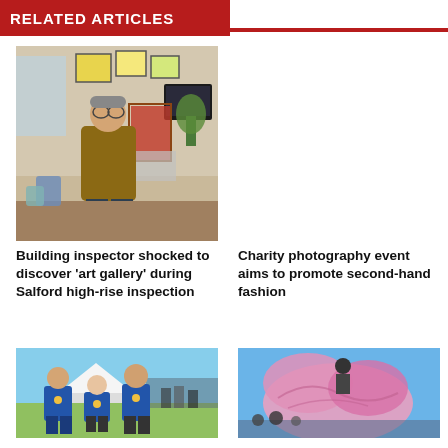RELATED ARTICLES
[Figure (photo): Man in brown shirt standing in a cluttered art studio with paintings and a TV screen in the background]
Building inspector shocked to discover 'art gallery' during Salford high-rise inspection
Charity photography event aims to promote second-hand fashion
[Figure (photo): Three people in blue shirts with medals at an outdoor event]
[Figure (photo): Person near a large pink inflatable object against a blue sky]